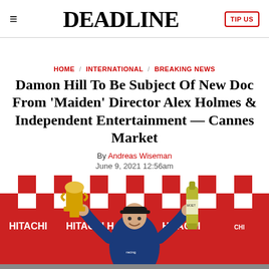DEADLINE
HOME / INTERNATIONAL / BREAKING NEWS
Damon Hill To Be Subject Of New Doc From 'Maiden' Director Alex Holmes & Independent Entertainment — Cannes Market
By Andreas Wiseman
June 9, 2021 12:56am
[Figure (photo): Damon Hill on a race podium holding a trophy in one hand and a champagne bottle in the other, with red and white checkered Hitachi sponsor banners in the background]